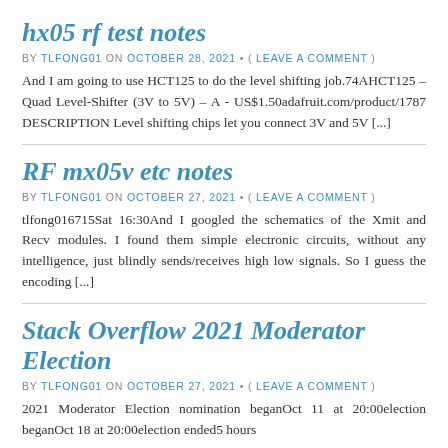hx05 rf test notes
BY TLFONG01 ON OCTOBER 28, 2021 • ( LEAVE A COMMENT )
And I am going to use HCT125 to do the level shifting job.74AHCT125 – Quad Level-Shifter (3V to 5V) – A - US$1.50adafruit.com/product/1787 DESCRIPTION Level shifting chips let you connect 3V and 5V [...]
RF mx05v etc notes
BY TLFONG01 ON OCTOBER 27, 2021 • ( LEAVE A COMMENT )
tlfong016715Sat 16:30And I googled the schematics of the Xmit and Recv modules. I found them simple electronic circuits, without any intelligence, just blindly sends/receives high low signals. So I guess the encoding [...]
Stack Overflow 2021 Moderator Election
BY TLFONG01 ON OCTOBER 27, 2021 • ( LEAVE A COMMENT )
2021 Moderator Election nomination beganOct 11 at 20:00election beganOct 18 at 20:00election ended5 hours